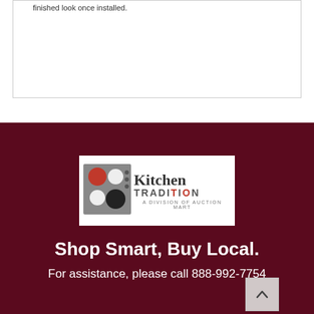finished look once installed.
[Figure (logo): Kitchen Tradition logo — A Division of Auction Mart]
Shop Smart, Buy Local.
For assistance, please call 888-992-7754